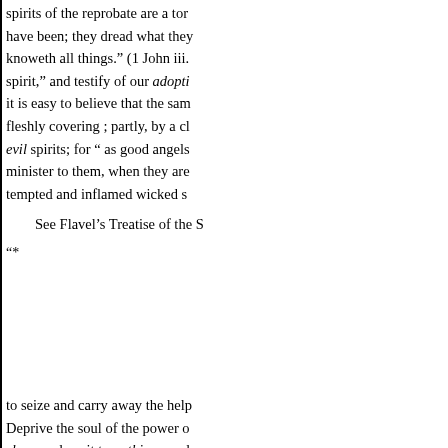spirits of the reprobate are a tor have been; they dread what they knoweth all things." (1 John iii. spirit," and testify of our adopti it is easy to believe that the sam fleshly covering ; partly, by a cl evil spirits; for " as good angels minister to them, when they are tempted and inflamed wicked s
See Flavel's Treatise of the S
"*
to seize and carry away the help
Deprive the soul of the power o sleep; reduce it to nothing ; and its offences, however written w
of iron," or with " the point of a nerer perishes; in its separation to that place, and unto that soci societies of souls after death; o